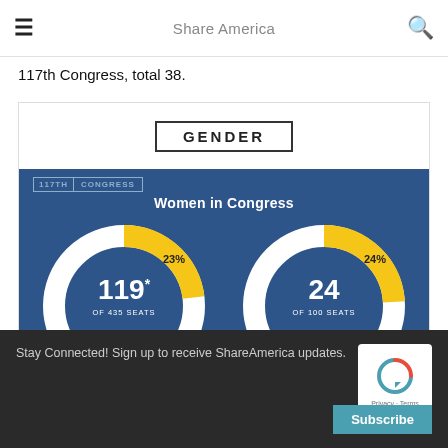Share America
117th Congress, total 38.
[Figure (donut-chart): Women in Congress]
Stay Connected! Sign up to receive ShareAmerica updates.